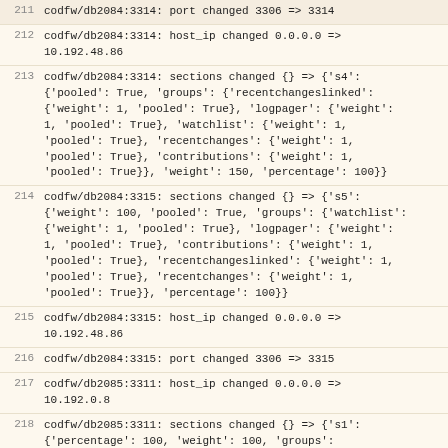211  codfw/db2084:3314: port changed 3306 => 3314
212  codfw/db2084:3314: host_ip changed 0.0.0.0 => 10.192.48.86
213  codfw/db2084:3314: sections changed {} => {'s4': {'pooled': True, 'groups': {'recentchangeslinked': {'weight': 1, 'pooled': True}, 'logpager': {'weight': 1, 'pooled': True}, 'watchlist': {'weight': 1, 'pooled': True}, 'recentchanges': {'weight': 1, 'pooled': True}, 'contributions': {'weight': 1, 'pooled': True}}, 'weight': 150, 'percentage': 100}}
214  codfw/db2084:3315: sections changed {} => {'s5': {'weight': 100, 'pooled': True, 'groups': {'watchlist': {'weight': 1, 'pooled': True}, 'logpager': {'weight': 1, 'pooled': True}, 'contributions': {'weight': 1, 'pooled': True}, 'recentchangeslinked': {'weight': 1, 'pooled': True}, 'recentchanges': {'weight': 1, 'pooled': True}}, 'percentage': 100}}
215  codfw/db2084:3315: host_ip changed 0.0.0.0 => 10.192.48.86
216  codfw/db2084:3315: port changed 3306 => 3315
217  codfw/db2085:3311: host_ip changed 0.0.0.0 => 10.192.0.8
218  codfw/db2085:3311: sections changed {} => {'s1': {'percentage': 100, 'weight': 100, 'groups': {'contributions': {'weight': 1, 'pooled': True}, 'recentchanges': {'weight': 1, 'pooled': True}, 'watchlist': {'weight': 1, 'pooled': True}, 'recentchangeslinked': {'weight': 1, 'pooled': True}, 'logpager': {'weight': 1, 'pooled': True}}, 'pooled':